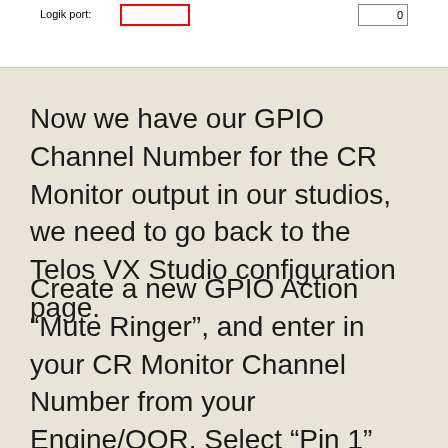[Figure (screenshot): Screenshot of a configuration interface showing 'Logik port:' label with a red-bordered input field on the left, and a right-aligned numeric field showing '0' on the right side.]
Now we have our GPIO Channel Number for the CR Monitor output in our studios, we need to go back to the Telos VX Studio configuration page.
Create a new GPIO Action “Mute Ringer”, and enter in your CR Monitor Channel Number from your Engine/QOR. Select “Pin 1” and type “To GPIO”. We select Pin 1, because Axia always